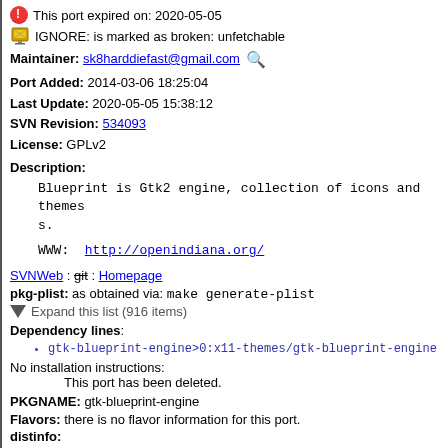This port expired on: 2020-05-05
IGNORE: is marked as broken: unfetchable
Maintainer: sk8harddiefast@gmail.com
Port Added: 2014-03-06 18:25:04
Last Update: 2020-05-05 15:38:12
SVN Revision: 534093
License: GPLv2
Description:
Blueprint is Gtk2 engine, collection of icons and themes.
WWW: http://openindiana.org/
SVNWeb : git : Homepage
pkg-plist: as obtained via: make generate-plist
Expand this list (916 items)
Dependency lines:
gtk-blueprint-engine>0:x11-themes/gtk-blueprint-engine
No installation instructions:
        This port has been deleted.
PKGNAME: gtk-blueprint-engine
Flavors: there is no flavor information for this port.
distinfo: